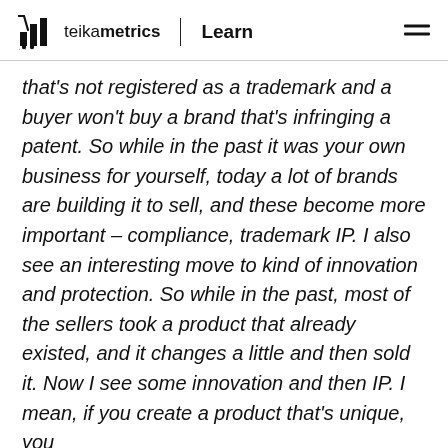teikametrics | Learn
that's not registered as a trademark and a buyer won't buy a brand that's infringing a patent. So while in the past it was your own business for yourself, today a lot of brands are building it to sell, and these become more important – compliance, trademark IP. I also see an interesting move to kind of innovation and protection. So while in the past, most of the sellers took a product that already existed, and it changes a little and then sold it. Now I see some innovation and then IP. I mean, if you create a product that's unique, you